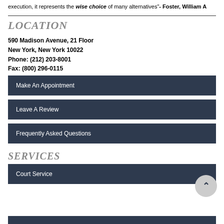execution, it represents the wise choice of many alternatives"- Foster, William A
LOCATION
590 Madison Avenue, 21 Floor
New York, New York 10022
Phone: (212) 203-8001
Fax: (800) 296-0115
Make An Appointment
Leave A Review
Frequently Asked Questions
SERVICES
Court Service